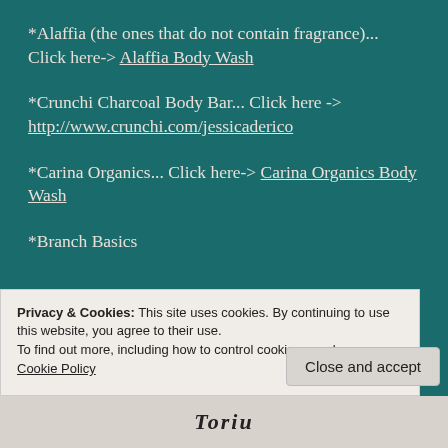*Alaffia (the ones that do not contain fragrance)... Click here-> Alaffia Body Wash
*Crunchi Charcoal Body Bar... Click here -> http://www.crunchi.com/jessicaderico
*Carina Organics... Click here-> Carina Organics Body Wash
*Branch Basics
Privacy & Cookies: This site uses cookies. By continuing to use this website, you agree to their use.
To find out more, including how to control cookies, see here: Cookie Policy
Close and accept